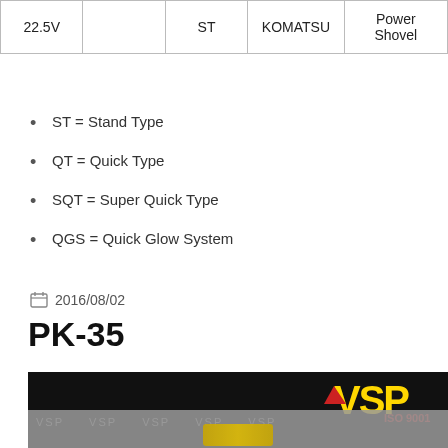| 22.5V |  | ST | KOMATSU | Power Shovel |
| --- | --- | --- | --- | --- |
ST = Stand Type
QT = Quick Type
SQT = Super Quick Type
QGS = Quick Glow System
2016/08/02
PK-35
[Figure (photo): VSP ISO 9001 logo on black background with product image below showing a yellow component; watermark VSP repeated across gray area]